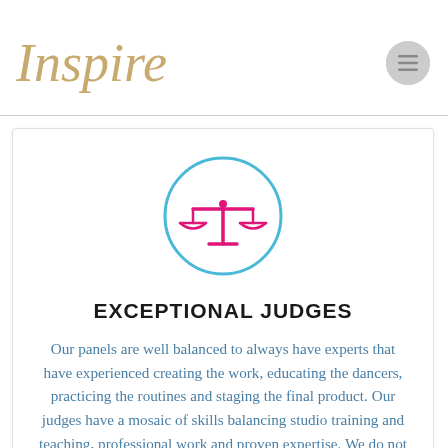Inspire
[Figure (logo): Menu hamburger icon in gray circle]
[Figure (illustration): Scales of justice icon in pink/magenta inside a light blue circle outline]
EXCEPTIONAL JUDGES
Our panels are well balanced to always have experts that have experienced creating the work, educating the dancers, practicing the routines and staging the final product. Our judges have a mosaic of skills balancing studio training and teaching, professional work and proven expertise. We do not focus on